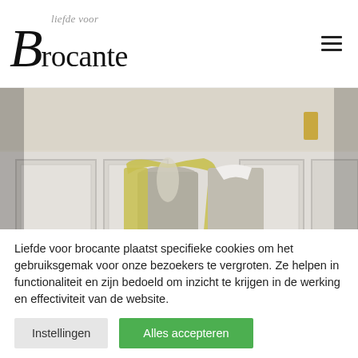liefde voor Brocante
[Figure (photo): Two headless vintage mannequins wearing old-fashioned clothing — one in a gold/cream jacket over a gray bodysuit, the other in a gray long-sleeve top with white lace collar, standing in front of white wainscoting panels.]
Liefde voor brocante plaatst specifieke cookies om het gebruiksgemak voor onze bezoekers te vergroten. Ze helpen in functionaliteit en zijn bedoeld om inzicht te krijgen in de werking en effectiviteit van de website.
Instellingen
Alles accepteren